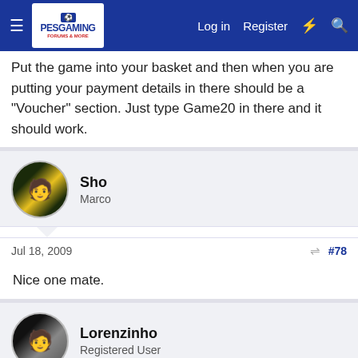PESGaming — Log in | Register
Put the game into your basket and then when you are putting your payment details in there should be a "Voucher" section. Just type Game20 in there and it should work.
Sho
Marco
Jul 18, 2009  #78
Nice one mate.
Lorenzinho
Registered User
Jul 18, 2009  #79
Is it for t
[Figure (screenshot): BitLife advertisement banner with 'Murder Do it!' text and Close X button]